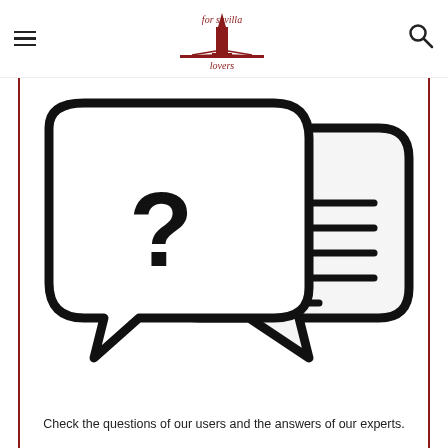for sevilla lovers
[Figure (illustration): Two overlapping speech bubbles: the front bubble contains a question mark, the back bubble contains horizontal lines representing text/answer.]
Check the questions of our users and the answers of our experts.